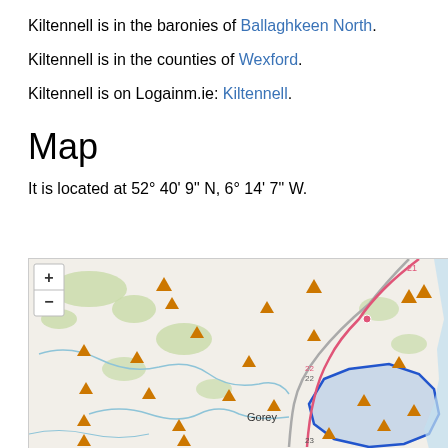Kiltennell is in the baronies of Ballaghkeen North.
Kiltennell is in the counties of Wexford.
Kiltennell is on Logainm.ie: Kiltennell.
Map
It is located at 52° 40' 9" N, 6° 14' 7" W.
[Figure (map): OpenStreetMap-style map showing the area around Gorey, County Wexford, Ireland. Features orange triangle markers, roads shown as pink/red lines including routes 21, 22, and 23, a blue outlined region near the coast (Ballaghkeen North barony area), rivers in blue, green wooded areas, and the town of Gorey labeled. A zoom control with + and - buttons is visible in the top-left of the map.]